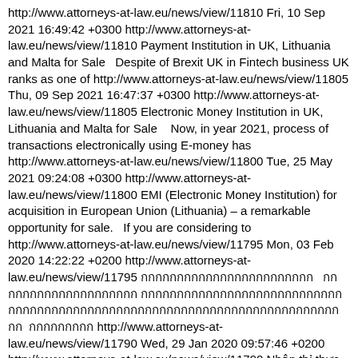http://www.attorneys-at-law.eu/news/view/11810 Fri, 10 Sep 2021 16:49:42 +0300 http://www.attorneys-at-law.eu/news/view/11810 Payment Institution in UK, Lithuania and Malta for Sale   Despite of Brexit UK in Fintech business UK ranks as one of http://www.attorneys-at-law.eu/news/view/11805 Thu, 09 Sep 2021 16:47:37 +0300 http://www.attorneys-at-law.eu/news/view/11805 Electronic Money Institution in UK, Lithuania and Malta for Sale    Now, in year 2021, process of transactions electronically using E-money has http://www.attorneys-at-law.eu/news/view/11800 Tue, 25 May 2021 09:24:08 +0300 http://www.attorneys-at-law.eu/news/view/11800 EMI (Electronic Money Institution) for acquisition in European Union (Lithuania) – a remarkable opportunity for sale.   If you are considering to http://www.attorneys-at-law.eu/news/view/11795 Mon, 03 Feb 2020 14:22:22 +0200 http://www.attorneys-at-law.eu/news/view/11795 กกกกกกกกกกกกกกกกกกกกกก   กกกกกกกกกกกกกกกกกกกก กกกกกกกกกกกกกกกกกกกกกกกกกกกกกกกกกกกกกกกกกกกกกกกกกกกกกกกกกกกกกกกกกกกกกกกก กก  กกกกกกกกก http://www.attorneys-at-law.eu/news/view/11790 Wed, 29 Jan 2020 09:57:46 +0200 http://www.attorneys-at-law.eu/news/view/11790 Nhận thị thực Châu Âu (Latvia) và nhập cư vào Châu Âu cùng gia đình!   Chúng tôi cung cấp dịch vụ http://www.attorneys-at-law.eu/news/view/11785 Wed, 29 Jan 2020 09:55:39 +0200 http://www.attorneys-at-law.eu/news/view/11785 http://www.attorneys-at-law.eu/news/view/11785 http://www.attorneys-at-law.eu/news/view/11780 Tue, 27 May 2018 16:55:44 +0200